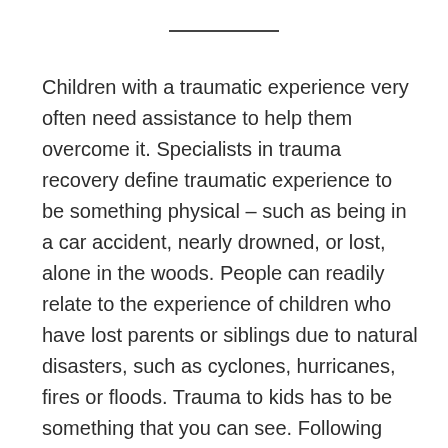Children with a traumatic experience very often need assistance to help them overcome it. Specialists in trauma recovery define traumatic experience to be something physical – such as being in a car accident, nearly drowned, or lost, alone in the woods. People can readily relate to the experience of children who have lost parents or siblings due to natural disasters, such as cyclones, hurricanes, fires or floods. Trauma to kids has to be something that you can see. Following Cyclone Yasi, in … [Read more...]